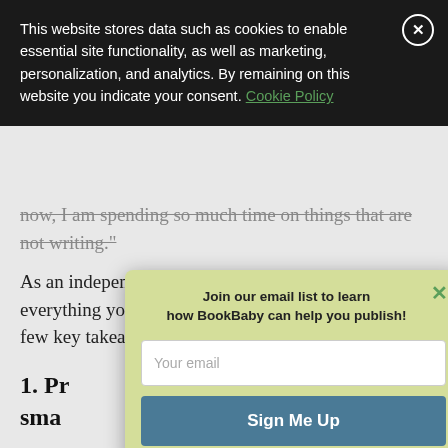This website stores data such as cookies to enable essential site functionality, as well as marketing, personalization, and analytics. By remaining on this website you indicate your consent. Cookie Policy
now, I am spending so much time on things that are not writing.
As an independent author, you should seek to learn everything you can from Hocking's story. Here are a few key takeaways.
1. Pr... is a sma...
Most p... a new a... on new e... hazon.
[Figure (screenshot): Email signup popup modal with light green background. Title: 'Join our email list to learn how BookBaby can help you publish!' with a green X close button. Contains a 'Your email' placeholder text input field and a dark teal 'Sign Me Up' button.]